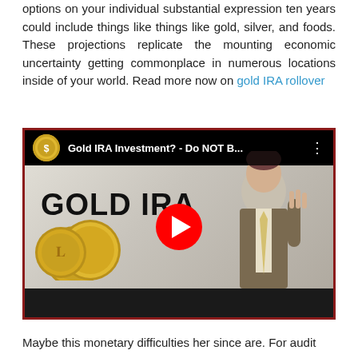options on your individual substantial expression ten years could include things like things like gold, silver, and foods. These projections replicate the mounting economic uncertainty getting commonplace in numerous locations inside of your world. Read more now on gold IRA rollover
[Figure (screenshot): YouTube video thumbnail showing a man in a suit with text 'GOLD IRA' and gold coins, title 'Gold IRA Investment? - Do NOT B...', with a red YouTube play button in the center.]
Maybe this monetary difficulties her since are. For audit